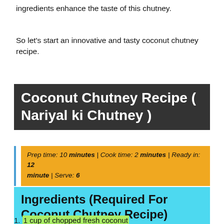ingredients enhance the taste of this chutney.
So let’s start an innovative and tasty coconut chutney recipe.
Coconut Chutney Recipe ( Nariyal ki Chutney )
Prep time: 10 minutes | Cook time: 2 minutes | Ready in: 12 minute | Serve: 6
Ingredients (Required For Coconut Chutney Recipe)
1 cup of chopped fresh coconut